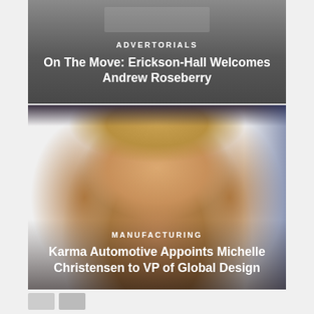ADVERTORIALS
On The Move: Erickson-Hall Welcomes Andrew Roseberry
[Figure (photo): Portrait photo of a woman with blonde hair smiling, with a blurred background]
MANUFACTURING
Karma Automotive Appoints Michelle Christensen to VP of Global Design